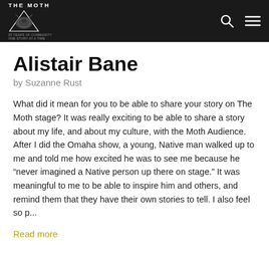THE MOTH
Alistair Bane
by Suzanne Rust
What did it mean for you to be able to share your story on The Moth stage? It was really exciting to be able to share a story about my life, and about my culture, with the Moth Audience. After I did the Omaha show, a young, Native man walked up to me and told me how excited he was to see me because he “never imagined a Native person up there on stage.” It was meaningful to me to be able to inspire him and others, and remind them that they have their own stories to tell. I also feel so p...
Read more